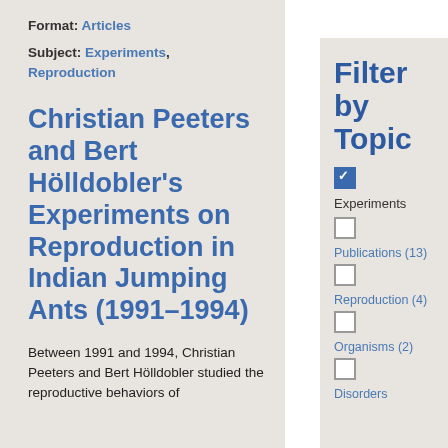Format: Articles
Subject: Experiments, Reproduction
Christian Peeters and Bert Hölldobler's Experiments on Reproduction in Indian Jumping Ants (1991–1994)
Between 1991 and 1994, Christian Peeters and Bert Hölldobler studied the reproductive behaviors of
Filter by Topic
☑ Experiments
☐ Publications (13)
☐ Reproduction (4)
☐ Organisms (2)
☐ Disorders